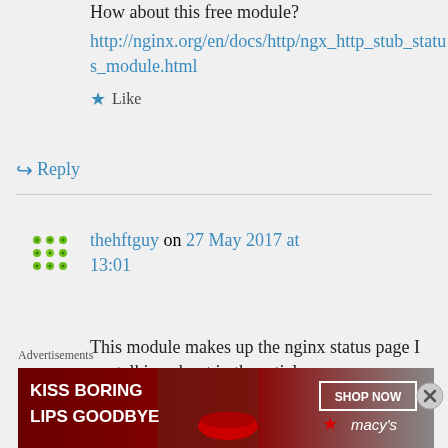How about this free module?
http://nginx.org/en/docs/http/ngx_http_stub_status_module.html
★ Like
↪ Reply
thehftguy on 27 May 2017 at 13:01
This module makes up the nginx status page I am talking about in the article.
Advertisements
[Figure (photo): Advertisement banner: KISS BORING LIPS GOODBYE with SHOP NOW button and Macy's logo on dark red background]